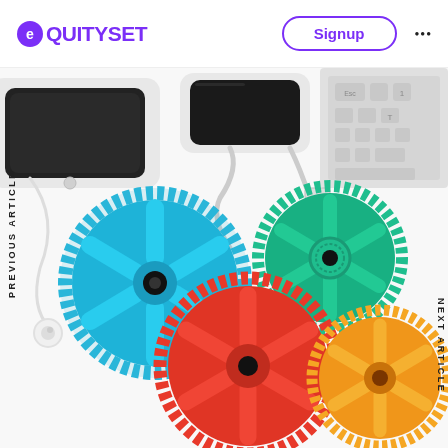EQUITYSET | Signup
[Figure (photo): Hero image showing colorful gear/cog wheels (blue, red, teal, orange) arranged on a white surface alongside smartphones, earbuds, USB cables, and a keyboard. Left sidebar reads 'PREVIOUS ARTICLE' rotated vertically. Right sidebar reads 'NEXT ARTICLE' rotated vertically.]